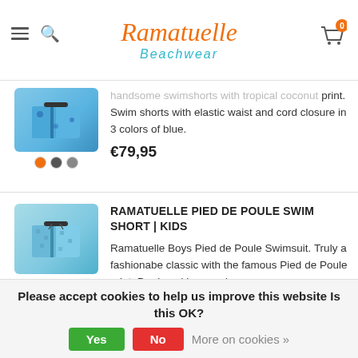Ramatuelle Beachwear
handsome swimshorts with tropical coconut print. Swim shorts with elastic waist and cord closure in 3 colors of blue.
€79,95
RAMATUELLE PIED DE POULE SWIM SHORT | KIDS
[Figure (photo): Blue pied de poule patterned kids swim shorts product thumbnail with color swatches]
Ramatuelle Boys Pied de Poule Swimsuit. Truly a fashionabe classic with the famous Pied de Poule print. Produced in a modern
€59,95
RAMATUELLE PIED DE POULE SWIM SHORT
Please accept cookies to help us improve this website Is this OK?
Yes
No
More on cookies »